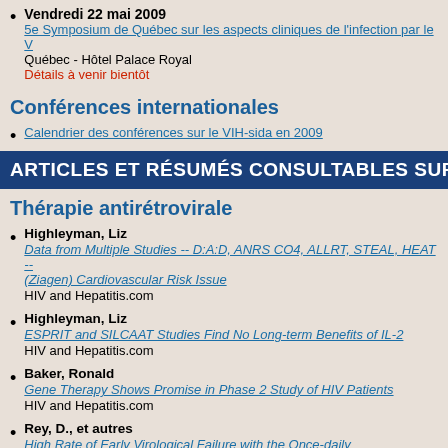Vendredi 22 mai 2009
5e Symposium de Québec sur les aspects cliniques de l'infection par le V...
Québec - Hôtel Palace Royal
Détails à venir bientôt
Conférences internationales
Calendrier des conférences sur le VIH-sida en 2009
ARTICLES ET RÉSUMÉS CONSULTABLES SUR INTERNET
Thérapie antirétrovirale
Highleyman, Liz
Data from Multiple Studies -- D:A:D, ANRS CO4, ALLRT, STEAL, HEAT -- (Ziagen) Cardiovascular Risk Issue
HIV and Hepatitis.com
Highleyman, Liz
ESPRIT and SILCAAT Studies Find No Long-term Benefits of IL-2
HIV and Hepatitis.com
Baker, Ronald
Gene Therapy Shows Promise in Phase 2 Study of HIV Patients
HIV and Hepatitis.com
Rey, D., et autres
High Rate of Early Virological Failure with the Once-daily Tenofovir/Lamiv...